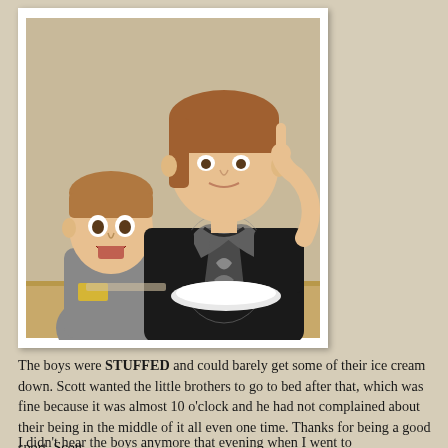[Figure (photo): Two boys at what appears to be a dining table. The taller boy in the foreground is wearing a black t-shirt with a decorative eagle/dragon graphic, pointing his finger to his temple and smiling. A younger/smaller boy in the background is wearing a gray t-shirt and has his mouth open in an expression of surprise or excitement.]
The boys were STUFFED and could barely get some of their ice cream down.  Scott wanted the little brothers to go to bed after that, which was fine because it was almost 10 o'clock and he had not complained about their being in the middle of it all even one time.  Thanks for being a good sport, Scott.
I didn't hear the boys anymore that evening when I went to